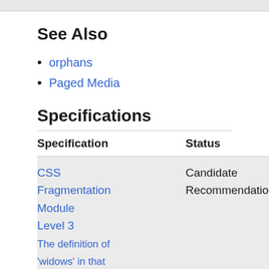See Also
orphans
Paged Media
Specifications
| Specification | Status | Com |
| --- | --- | --- |
| CSS Fragmentation Module Level 3
The definition of
'widows' in that | Candidate
Recommendation | Exte
wid
app
type
frag
like |